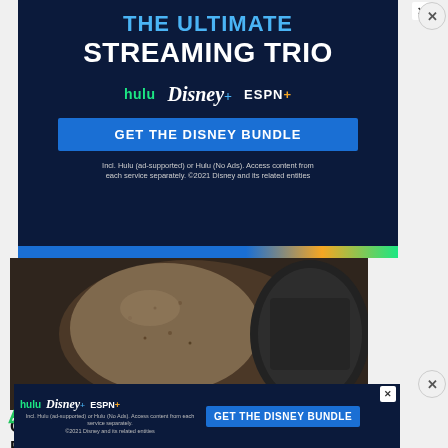[Figure (screenshot): Disney Bundle streaming advertisement with dark navy background showing 'THE ULTIMATE STREAMING TRIO' headline, Hulu, Disney+, and ESPN+ logos, a 'GET THE DISNEY BUNDLE' blue button, and fine print about included services. ©2021 Disney.]
[Figure (photo): Close-up photo of a drink or food item in a glass, dark and grainy background with a metallic container visible.]
One Teaspoon on an Empty Stomach Burns Belly Fat Like Crazy!
Weight loss
[Figure (screenshot): Smaller Disney Bundle advertisement banner at the bottom showing Hulu, Disney+, ESPN+ logos, GET THE DISNEY BUNDLE button, and fine print. ©2021 Disney.]